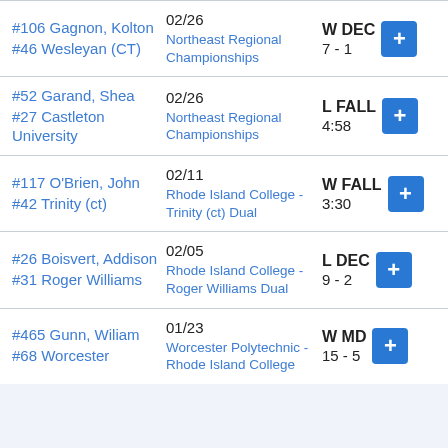| Opponent | Date/Event | Result |  |
| --- | --- | --- | --- |
| #106 Gagnon, Kolton
#46 Wesleyan (CT) | 02/26
Northeast Regional Championships | W DEC
7 - 1 | + |
| #52 Garand, Shea
#27 Castleton University | 02/26
Northeast Regional Championships | L FALL
4:58 | + |
| #117 O'Brien, John
#42 Trinity (ct) | 02/11
Rhode Island College - Trinity (ct) Dual | W FALL
3:30 | + |
| #26 Boisvert, Addison
#31 Roger Williams | 02/05
Rhode Island College - Roger Williams Dual | L DEC
9 - 2 | + |
| #465 Gunn, Wiliam
#68 Worcester | 01/23
Worcester Polytechnic - Rhode Island College | W MD
15 - 5 | + |